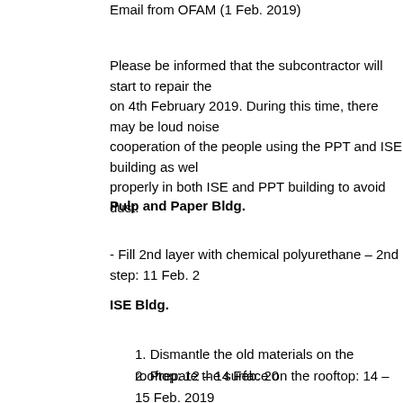Email from OFAM (1 Feb. 2019)
Please be informed that the subcontractor will start to repair the on 4th February 2019. During this time, there may be loud noise cooperation of the people using the PPT and ISE building as wel properly in both ISE and PPT building to avoid dust.
Pulp and Paper Bldg.
- Fill 2nd layer with chemical polyurethane – 2nd step: 11 Feb. 2
ISE Bldg.
1. Dismantle the old materials on the rooftop: 12 – 14 Feb. 20
2. Prepare the surface on the rooftop: 14 – 15 Feb. 2019
3. Adjust level of the rooftop: 15 – 16 Feb. 2019
4. Fill 1st layer with chemical polyurethane – 1st step: 16 – 18
5. Fill 2nd layer with chemical polyurethane – 2nd step: 19 Fe
(ii) Improvement project: Cleaning and Painting of Dorm J B
Email from OFAM (11 Oct. 2018)
Please be informed that subcontractor will start the improvement